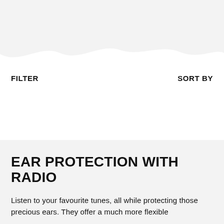[Figure (illustration): Decorative wave shape at the top of the page, light gray background with white wave cutout at the bottom edge]
FILTER
SORT BY
EAR PROTECTION WITH RADIO
Listen to your favourite tunes, all while protecting those precious ears. They offer a much more flexible